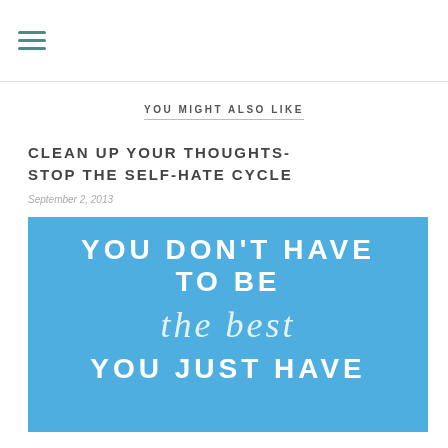≡ (hamburger menu icon)
YOU MIGHT ALSO LIKE
CLEAN UP YOUR THOUGHTS- STOP THE SELF-HATE CYCLE
September 2, 2013
[Figure (illustration): Blue motivational image with white text reading: YOU DON'T HAVE TO BE the best YOU JUST HAVE]